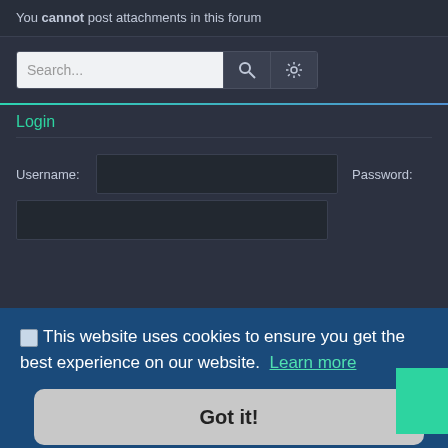You cannot post attachments in this forum
[Figure (screenshot): Search bar with text input, search icon button, and gear/settings icon button]
Login
Username:
Password:
This website uses cookies to ensure you get the best experience on our website. Learn more
Got it!